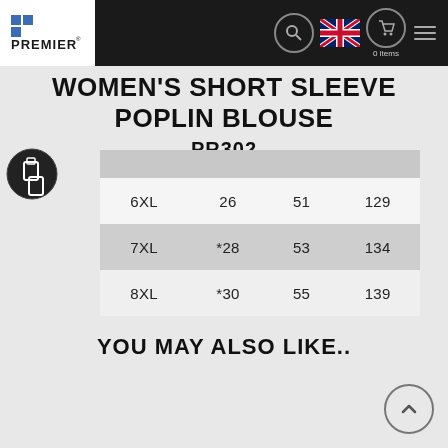[Figure (logo): Premier logo with blue squares and text]
WOMEN'S SHORT SLEEVE POPLIN BLOUSE PR302
|  |  |  |  |
| --- | --- | --- | --- |
| 6XL | 26 | 51 | 129 |
| 7XL | *28 | 53 | 134 |
| 8XL | *30 | 55 | 139 |
YOU MAY ALSO LIKE..